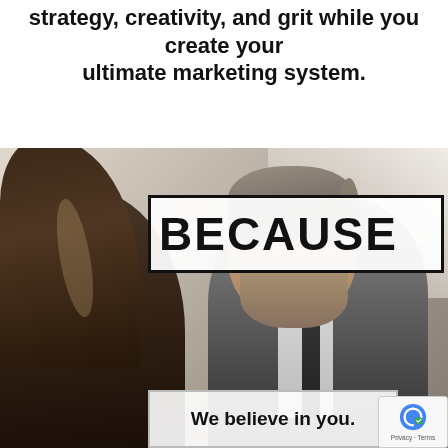strategy, creativity, and grit while you create your ultimate marketing system.
[Figure (photo): Two business professionals — a woman with long dark hair (left) and a bearded man in a suit (right) — in a close conversation, with a blurred light background. A bold text overlay reads BECAUSE in a bordered white box.]
BECAUSE
We believe in you.